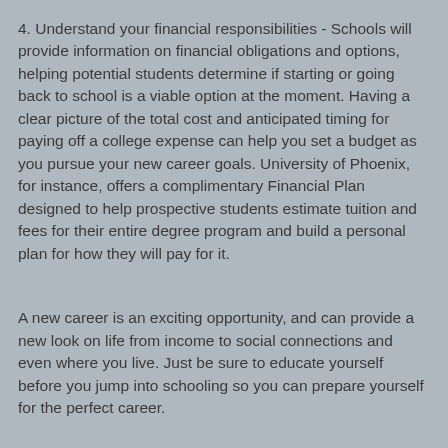4. Understand your financial responsibilities - Schools will provide information on financial obligations and options, helping potential students determine if starting or going back to school is a viable option at the moment. Having a clear picture of the total cost and anticipated timing for paying off a college expense can help you set a budget as you pursue your new career goals. University of Phoenix, for instance, offers a complimentary Financial Plan designed to help prospective students estimate tuition and fees for their entire degree program and build a personal plan for how they will pay for it.
A new career is an exciting opportunity, and can provide a new look on life from income to social connections and even where you live. Just be sure to educate yourself before you jump into schooling so you can prepare yourself for the perfect career.